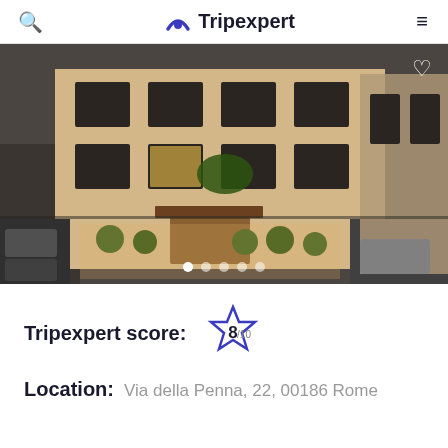Tripexpert
[Figure (photo): Aerial/elevated view of a hotel building facade in Rome at night, showing illuminated windows, decorative hedges, and a hotel entrance canopy. The image is partially desaturated with color focused on the lit building.]
Tripexpert score: 8/10
Location: Via della Penna, 22, 00186 Rome